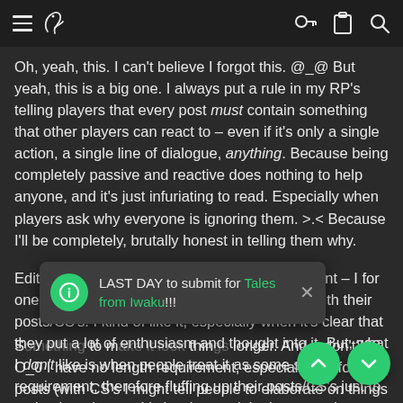Navigation bar with hamburger menu, bird logo, key icon, clipboard icon, search icon
Oh, yeah, this. I can't believe I forgot this. @_@ But yeah, this is a big one. I always put a rule in my RP's telling players that every post must contain something that other players can react to – even if it's only a single action, a single line of dialogue, anything. Because being completely passive and reactive does nothing to help anyone, and it's just infuriating to read. Especially when players ask why everyone is ignoring them. >.< Because I'll be completely, brutally honest in telling them why.
Edit: Also, sort of in response to Brovo's 4th point – I for one don't mind when people get a bit lengthy with their posts/CS's. I kind of like it, especially when it's clear that they put a lot of enthusiasm and thought into it. But, what I don't like is when people treat it as some sort of requirement, therefore fluffing up their posts/CS's just to make them longer. It's hard to explain, but, somehow you can just sort of feel when a post/CS was made longer just to make it longer, and not b[...] nted to say.
S[...] to m[...] thin[...] longer. And... don't??? O_0 I have no length requirement, especial[ly] not for IC posts (with CS's I might tell people to elaborate on things
[Figure (screenshot): Toast/popup notification overlay reading 'LAST DAY to submit for Tales from Iwaku!!!' with a green circle info icon on the left and an X close button on the right]
[Figure (other): Two green circular FAB (floating action button) buttons at bottom right: up arrow and down arrow]